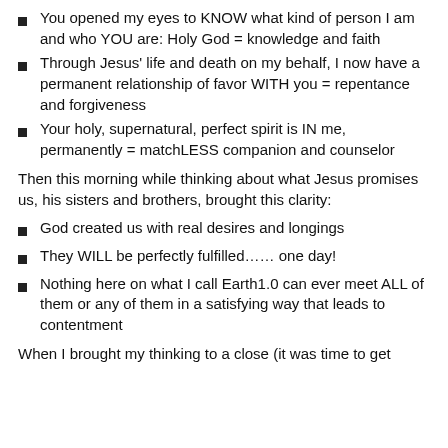You opened my eyes to KNOW what kind of person I am and who YOU are: Holy God = knowledge and faith
Through Jesus' life and death on my behalf, I now have a permanent relationship of favor WITH you = repentance and forgiveness
Your holy, supernatural, perfect spirit is IN me, permanently = matchLESS companion and counselor
Then this morning while thinking about what Jesus promises us, his sisters and brothers, brought this clarity:
God created us with real desires and longings
They WILL be perfectly fulfilled…… one day!
Nothing here on what I call Earth1.0 can ever meet ALL of them or any of them in a satisfying way that leads to contentment
When I brought my thinking to a close (it was time to get